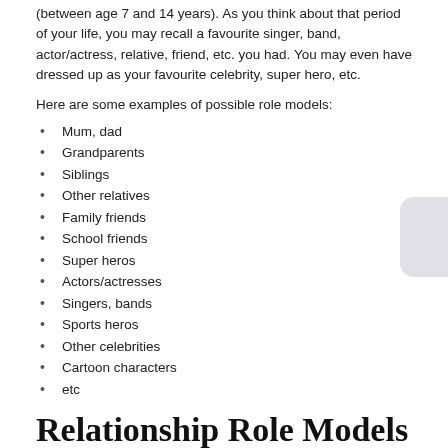(between age 7 and 14 years). As you think about that period of your life, you may recall a favourite singer, band, actor/actress, relative, friend, etc. you had. You may even have dressed up as your favourite celebrity, super hero, etc.
Here are some examples of possible role models:
Mum, dad
Grandparents
Siblings
Other relatives
Family friends
School friends
Super heros
Actors/actresses
Singers, bands
Sports heros
Other celebrities
Cartoon characters
etc
Relationship Role Models